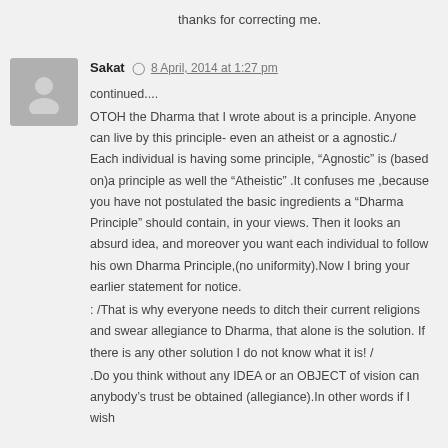thanks for correcting me.
Sakat  8 April, 2014 at 1:27 pm
continued....
OTOH the Dharma that I wrote about is a principle. Anyone can live by this principle- even an atheist or a agnostic./
Each individual is having some principle, “Agnostic” is (based on)a principle as well the “Atheistic” .It confuses me ,because you have not postulated the basic ingredients a “Dharma Principle” should contain, in your views. Then it looks an absurd idea, and moreover you want each individual to follow his own Dharma Principle,(no uniformity).Now I bring your earlier statement for notice.
: /That is why everyone needs to ditch their current religions and swear allegiance to Dharma, that alone is the solution. If there is any other solution I do not know what it is! /
.Do you think without any IDEA or an OBJECT of vision can anybody’s trust be obtained (allegiance).In other words if I wish